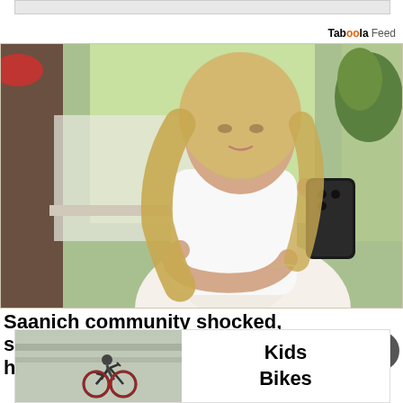[Figure (other): Top banner advertisement, gray rectangle]
Taboola Feed
[Figure (photo): A pregnant blonde woman in a white dress taking a mirror selfie with a black smartphone, standing in a bright room with large windows and greenery outside]
Saanich community shocked, saddened by loss of entrepreneur and her baby
[Figure (photo): Bottom advertisement showing a child riding a bike, with text 'Kids Bikes']